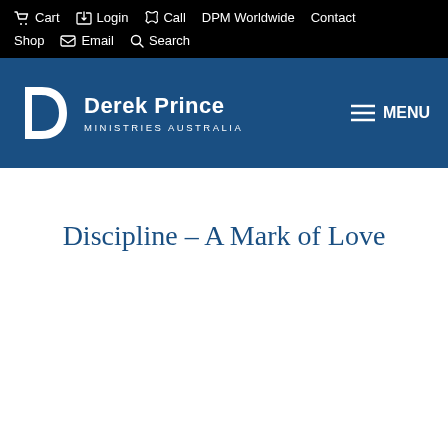Cart  Login  Call  DPM Worldwide  Contact  Shop  Email  Search
[Figure (logo): Derek Prince Ministries Australia logo with stylized D and MENU button on blue header bar]
Discipline – A Mark of Love